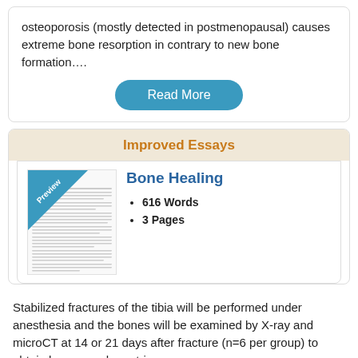osteoporosis (mostly detected in postmenopausal) causes extreme bone resorption in contrary to new bone formation….
Read More
Improved Essays
[Figure (illustration): Preview thumbnail of a document page with a blue diagonal 'Preview' banner in the top-left corner]
Bone Healing
616 Words
3 Pages
Stabilized fractures of the tibia will be performed under anesthesia and the bones will be examined by X-ray and microCT at 14 or 21 days after fracture (n=6 per group) to obtain bone morphometric